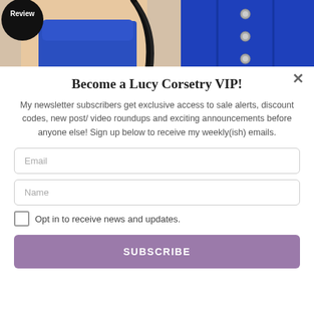[Figure (photo): Photo showing a woman in a blue satin corset with a long braid, alongside a close-up of a blue satin corset with silver buttons. A circular black badge reading 'Review' is visible in the top-left corner.]
Become a Lucy Corsetry VIP!
My newsletter subscribers get exclusive access to sale alerts, discount codes, new post/ video roundups and exciting announcements before anyone else! Sign up below to receive my weekly(ish) emails.
Email
Name
Opt in to receive news and updates.
SUBSCRIBE